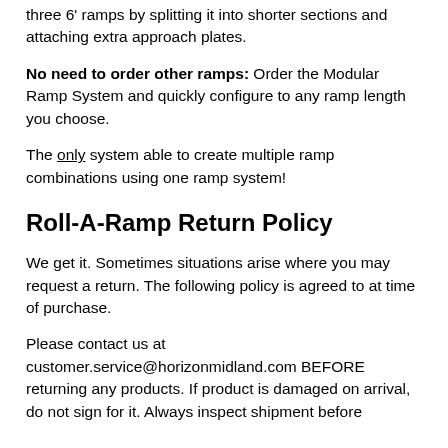three 6' ramps by splitting it into shorter sections and attaching extra approach plates.
No need to order other ramps: Order the Modular Ramp System and quickly configure to any ramp length you choose.
The only system able to create multiple ramp combinations using one ramp system!
Roll-A-Ramp Return Policy
We get it. Sometimes situations arise where you may request a return. The following policy is agreed to at time of purchase.
Please contact us at customer.service@horizonmidland.com BEFORE returning any products. If product is damaged on arrival, do not sign for it. Always inspect shipment before